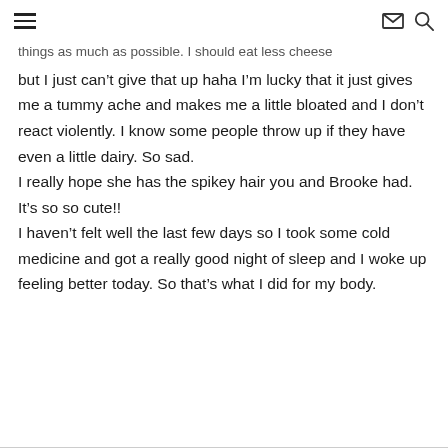[navigation icons: hamburger menu, envelope, search]
things as much as possible. I should eat less cheese but I just can't give that up haha I'm lucky that it just gives me a tummy ache and makes me a little bloated and I don't react violently. I know some people throw up if they have even a little dairy. So sad.
I really hope she has the spikey hair you and Brooke had. It's so so cute!!
I haven't felt well the last few days so I took some cold medicine and got a really good night of sleep and I woke up feeling better today. So that's what I did for my body.